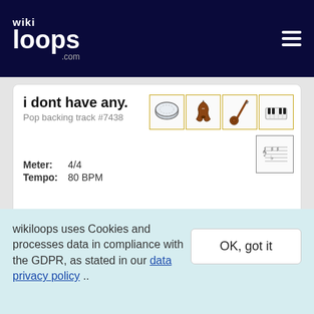wikiloops.com
i dont have any.
Pop backing track #7438
Meter: 4/4
Tempo: 80 BPM
Htworld3
Pop backing track #30220
wikiloops uses Cookies and processes data in compliance with the GDPR, as stated in our data privacy policy ..